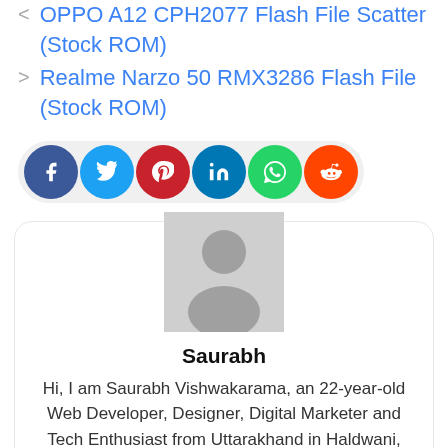< OPPO A12 CPH2077 Flash File Scatter (Stock ROM)
> Realme Narzo 50 RMX3286 Flash File (Stock ROM)
[Figure (infographic): Social share buttons bar with icons for Facebook, Twitter, Pinterest, LinkedIn, WhatsApp, and Reddit]
[Figure (photo): Grey placeholder avatar/profile image]
Saurabh
Hi, I am Saurabh Vishwakarama, an 22-year-old Web Developer, Designer, Digital Marketer and Tech Enthusiast from Uttarakhand in Haldwani, India. I am a Computer Science Student I cover